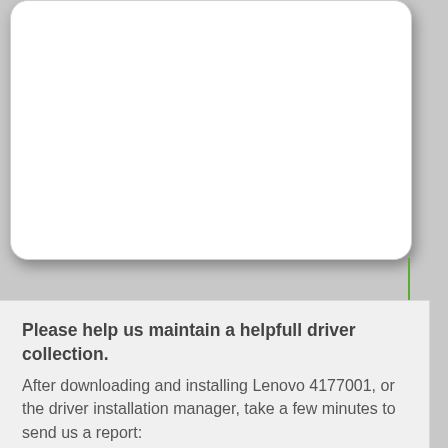[Figure (other): White rounded card area at the top of the page, empty white box]
Please help us maintain a helpfull driver collection.
After downloading and installing Lenovo 4177001, or the driver installation manager, take a few minutes to send us a report:
* Only registered users can upload a report.
Password:
[Figure (other): Send button with arrow icon, partially visible at bottom]